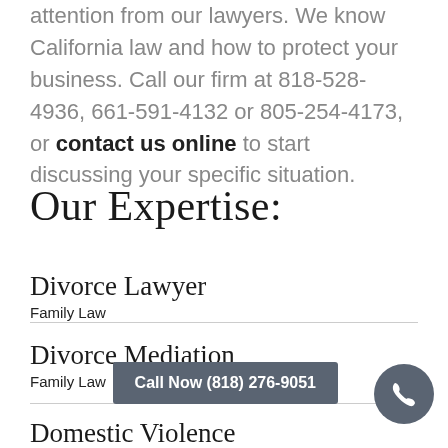attention from our lawyers. We know California law and how to protect your business. Call our firm at 818-528-4936, 661-591-4132 or 805-254-4173, or contact us online to start discussing your specific situation.
Our Expertise:
Divorce Lawyer
Family Law
Divorce Mediation
Family Law
Domestic Violence